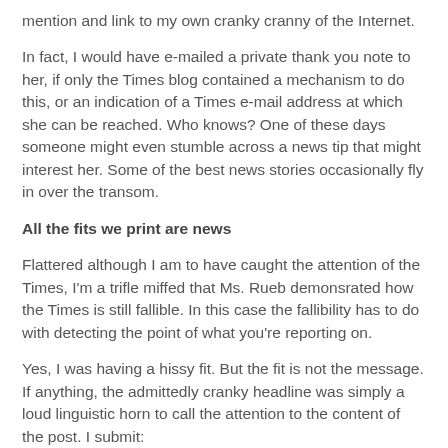mention and link to my own cranky cranny of the Internet.
In fact, I would have e-mailed a private thank you note to her, if only the Times blog contained a mechanism to do this, or an indication of a Times e-mail address at which she can be reached. Who knows? One of these days someone might even stumble across a news tip that might interest her. Some of the best news stories occasionally fly in over the transom.
All the fits we print are news
Flattered although I am to have caught the attention of the Times, I'm a trifle miffed that Ms. Rueb demonsrated how the Times is still fallible. In this case the fallibility has to do with detecting the point of what you're reporting on.
Yes, I was having a hissy fit. But the fit is not the message. If anything, the admittedly cranky headline was simply a loud linguistic horn to call the attention to the content of the post. I submit:
A) From the headline on, The New York Crank